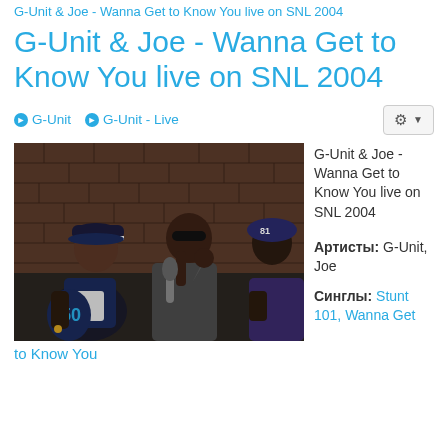G-Unit & Joe - Wanna Get to Know You live on SNL 2004
G-Unit & Joe - Wanna Get to Know You live on SNL 2004
G-Unit  G-Unit - Live
[Figure (photo): Two men performing on stage, one holding a microphone, with a brick wall backdrop. One wears a blue sports jersey with number 50.]
G-Unit & Joe - Wanna Get to Know You live on SNL 2004
Артисты: G-Unit, Joe
Синглы: Stunt 101, Wanna Get to Know You